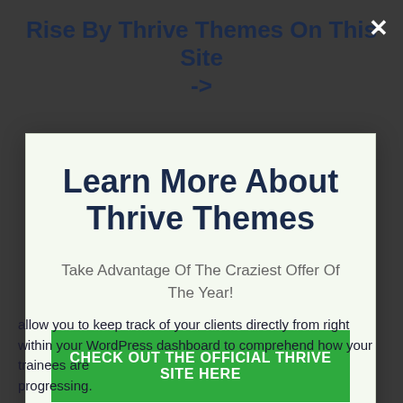Rise By Thrive Themes On This Site ->
Learn More About Thrive Themes
Take Advantage Of The Craziest Offer Of The Year!
CHECK OUT THE OFFICIAL THRIVE SITE HERE
No thanks, I'm not interested!
allow you to keep track of your clients directly from right within your WordPress dashboard to comprehend how your trainees are progressing.